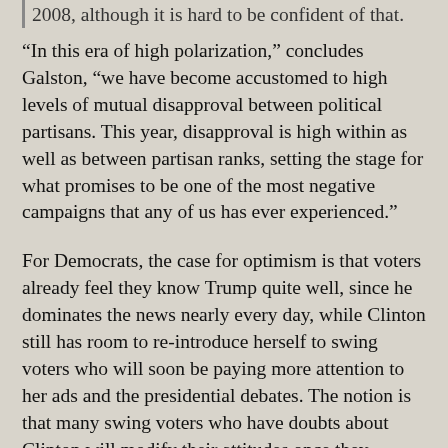2008, although it is hard to be confident of that.
“In this era of high polarization,” concludes Galston, “we have become accustomed to high levels of mutual disapproval between political partisans. This year, disapproval is high within as well as between partisan ranks, setting the stage for what promises to be one of the most negative campaigns that any of us has ever experienced.”
For Democrats, the case for optimism is that voters already feel they know Trump quite well, since he dominates the news nearly every day, while Clinton still has room to re-introduce herself to swing voters who will soon be paying more attention to her ads and the presidential debates. The notion is that many swing voters who have doubts about Clinton will modify their attitudes once they witness her performance in the debates, and her more thoughtful policies and mature temperament will stand in sharp